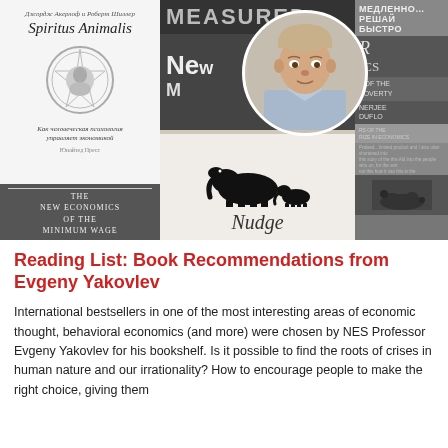[Figure (photo): Collage of book covers (Spiritus Animalis, Measured, New Economics of Minimum Wage, Nudge, a Russian title, and others) with a circular portrait photo of Evgeny Yakovlev in the center foreground.]
Reading List: Book Recommendations from Evgeny Yakovlev
International bestsellers in one of the most interesting areas of economic thought, behavioral economics (and more) were chosen by NES Professor Evgeny Yakovlev for his bookshelf. Is it possible to find the roots of crises in human nature and our irrationality? How to encourage people to make the right choice, giving them